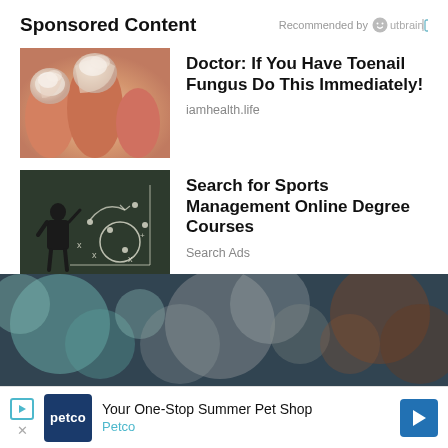Sponsored Content — Recommended by Outbrain
[Figure (photo): Close-up photo of toenails affected by fungal infection]
Doctor: If You Have Toenail Fungus Do This Immediately!
iamhealth.life
[Figure (photo): Man in a suit drawing sports plays on a chalkboard]
Search for Sports Management Online Degree Courses
Search Ads
[Figure (photo): Bokeh background image of blurred lights, partial bottom banner]
Your One-Stop Summer Pet Shop — Petco